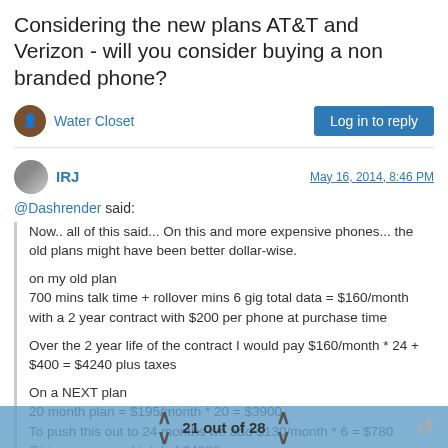Considering the new plans AT&T and Verizon - will you consider buying a non branded phone?
Water Closet
Log in to reply
IRJ
May 16, 2014, 8:46 PM
@Dashrender said:
Now.. all of this said... On this and more expensive phones... the old plans might have been better dollar-wise.

on my old plan
700 mins talk time + rollover mins 6 gig total data = $160/month with a 2 year contract with $200 per phone at purchase time

Over the 2 year life of the contract I would pay $160/month * 24 + $400 = $4240 plus taxes

On a NEXT plan
20 month plan = $195/month * 20 = $3900
To push this out to 24 months we add $130/month * 6 = $780
Giving us a grand total of $4680
21 out of 28